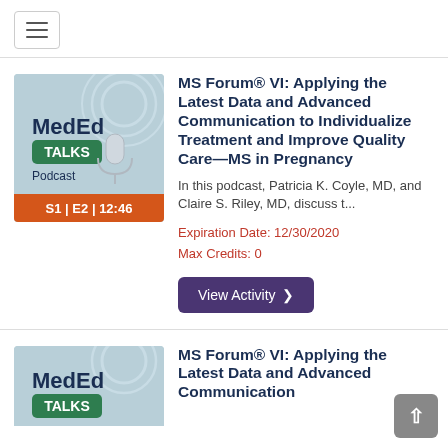[Figure (screenshot): Hamburger menu icon button in navigation bar]
[Figure (illustration): MedEd Talks Podcast thumbnail image with logo, microphone graphic, light blue background, and orange bar at bottom showing S1 | E2 | 12:46]
MS Forum® VI: Applying the Latest Data and Advanced Communication to Individualize Treatment and Improve Quality Care—MS in Pregnancy
In this podcast, Patricia K. Coyle, MD, and Claire S. Riley, MD, discuss t...
Expiration Date: 12/30/2020
Max Credits: 0
View Activity
[Figure (illustration): MedEd Talks Podcast thumbnail image (partial), showing MedEd Talks logo and top portion]
MS Forum® VI: Applying the Latest Data and Advanced Communication